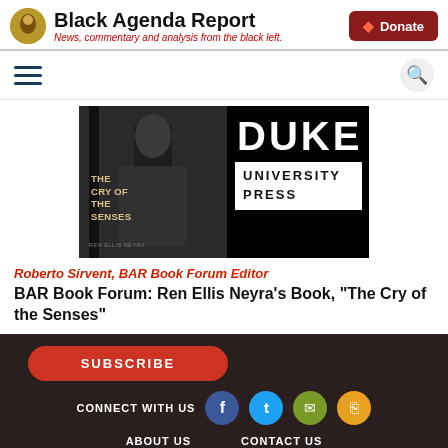Black Agenda Report — News, commentary and analysis from the black left.
[Figure (screenshot): Book cover for 'The Cry of the Senses' alongside Duke University Press logo on black background]
Roberto Sirvent, BAR Book Forum Editor
BAR Book Forum: Ren Ellis Neyra’s Book, “The Cry of the Senses”
SUBSCRIBE | CONNECT WITH US | ABOUT US | CONTACT US